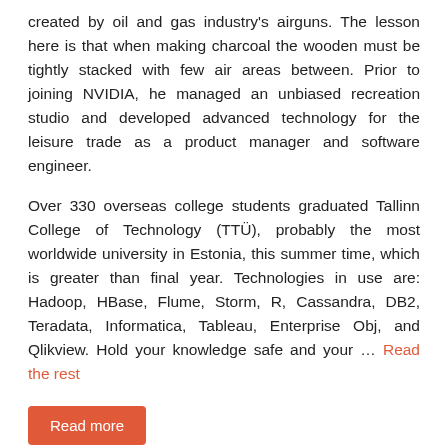created by oil and gas industry's airguns. The lesson here is that when making charcoal the wooden must be tightly stacked with few air areas between. Prior to joining NVIDIA, he managed an unbiased recreation studio and developed advanced technology for the leisure trade as a product manager and software engineer.
Over 330 overseas college students graduated Tallinn College of Technology (TTÜ), probably the most worldwide university in Estonia, this summer time, which is greater than final year. Technologies in use are: Hadoop, HBase, Flume, Storm, R, Cassandra, DB2, Teradata, Informatica, Tableau, Enterprise Obj, and Qlikview. Hold your knowledge safe and your … Read the rest
Read more
Music